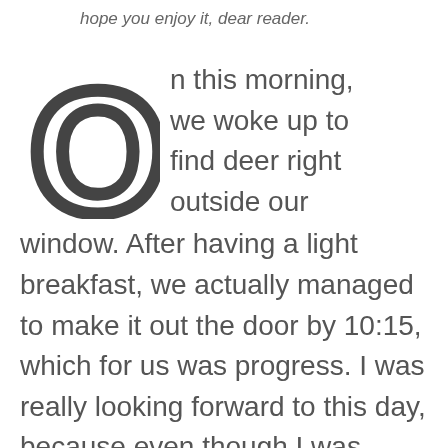hope you enjoy it, dear reader.
On this morning, we woke up to find deer right outside our window. After having a light breakfast, we actually managed to make it out the door by 10:15, which for us was progress. I was really looking forward to this day, because even though I was familiar with much of this stretch of the coast, that only meant that I already knew I'd love it.